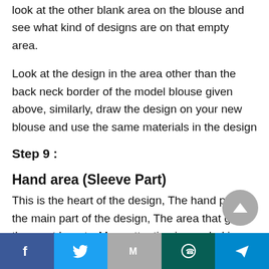look at the other blank area on the blouse and see what kind of designs are on that empty area.
Look at the design in the area other than the back neck border of the model blouse given above, similarly, draw the design on your new blouse and use the same materials in the design
Step 9 :
Hand area (Sleeve Part)
This is the heart of the design, The hand part is the main part of the design, The area that gives the most beauty, More attention is needed in designing
Facebook | Twitter | Gmail | WhatsApp | Telegram